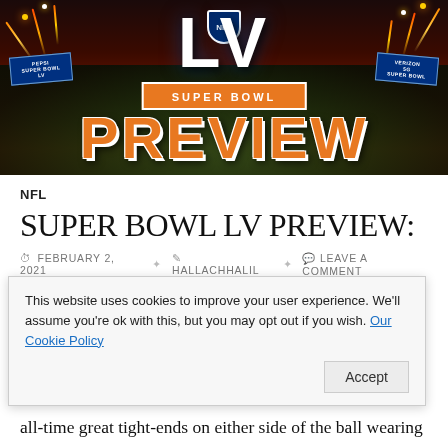[Figure (photo): Super Bowl LV Preview banner image showing an aerial view of a stadium with fireworks, displaying 'LV' in large white letters above an orange banner reading 'SUPER BOWL' and large orange text reading 'PREVIEW']
NFL
SUPER BOWL LV PREVIEW:
FEBRUARY 2, 2021  HALLACHHALIL  LEAVE A COMMENT
We have made it! All 256 regular season and – since this year – t... [partially obscured by cookie banner]
all-time great tight-ends on either side of the ball wearing
This website uses cookies to improve your user experience. We'll assume you're ok with this, but you may opt out if you wish. Our Cookie Policy